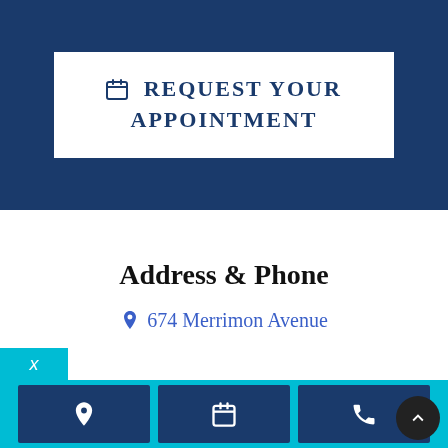[Figure (screenshot): Dark blue banner section with a white button containing calendar icon and bold uppercase text 'REQUEST YOUR APPOINTMENT']
Address & Phone
674 Merrimon Avenue
[Figure (infographic): Cyan bottom bar with three dark blue icon boxes: map pin icon, calendar icon, phone icon; and a dark scroll-to-top circular button]